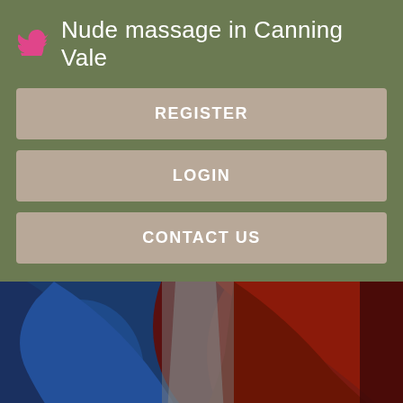Nude massage in Canning Vale
REGISTER
LOGIN
CONTACT US
[Figure (illustration): Abstract colorful illustration with blue and dark red/brown shapes on a grey background, partially cropped.]
This is my whatsapp number or anyakwaya0 gmail. Am kind respectful honesty from Brooklyn NY age20 number email address ptafari12 gmailcom. Damn girl there is no way you are 51 I think you are fine I would love to be the one to get to love